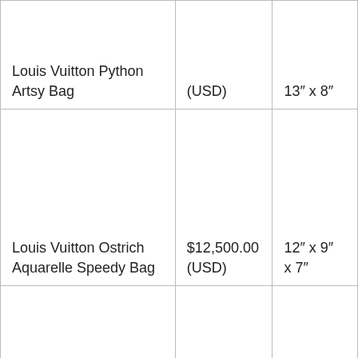| Louis Vuitton Python Artsy Bag | (USD) | 13″ x 8″ |
| Louis Vuitton Ostrich Aquarelle Speedy Bag | $12,500.00
(USD) | 12″ x 9″
x 7″ |
|  |  | 15″ x |